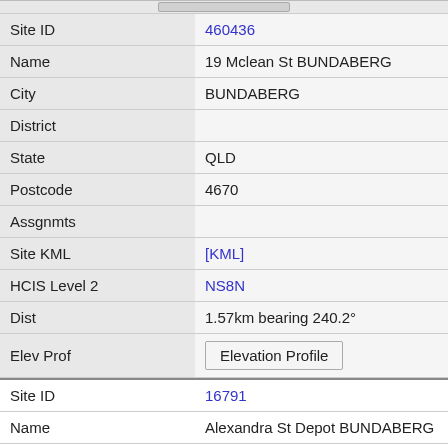| Field | Value |
| --- | --- |
| Site ID | 460436 |
| Name | 19 Mclean St BUNDABERG |
| City | BUNDABERG |
| District |  |
| State | QLD |
| Postcode | 4670 |
| Assgnmts |  |
| Site KML | [KML] |
| HCIS Level 2 | NS8N |
| Dist | 1.57km bearing 240.2° |
| Elev Prof | Elevation Profile |
| Field | Value |
| --- | --- |
| Site ID | 16791 |
| Name | Alexandra St Depot BUNDABERG |
| City | BUNDABERG |
| District |  |
| State | QLD |